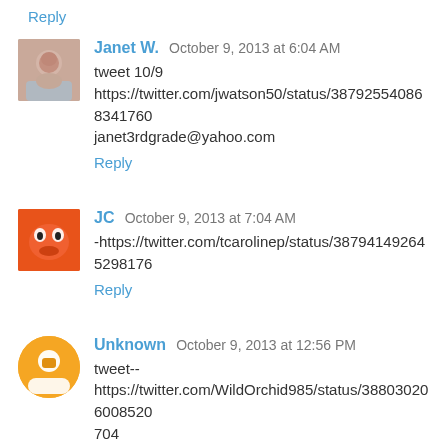Reply
Janet W.  October 9, 2013 at 6:04 AM
tweet 10/9
https://twitter.com/jwatson50/status/387925540868341760
janet3rdgrade@yahoo.com
Reply
JC  October 9, 2013 at 7:04 AM
-https://twitter.com/tcarolinep/status/387941492645298176
Reply
Unknown  October 9, 2013 at 12:56 PM
tweet--
https://twitter.com/WildOrchid985/status/388030206008520
704